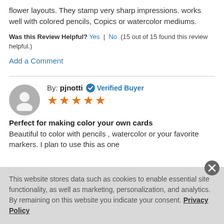flower layouts. They stamp very sharp impressions. works well with colored pencils, Copics or watercolor mediums.
Was this Review Helpful? Yes | No (15 out of 15 found this review helpful.)
Add a Comment
By: pjnotti ✔ Verified Buyer ★★★★★
Perfect for making color your own cards
Beautiful to color with pencils , watercolor or your favorite markers. I plan to use this as one
This website stores data such as cookies to enable essential site functionality, as well as marketing, personalization, and analytics. By remaining on this website you indicate your consent. Privacy Policy